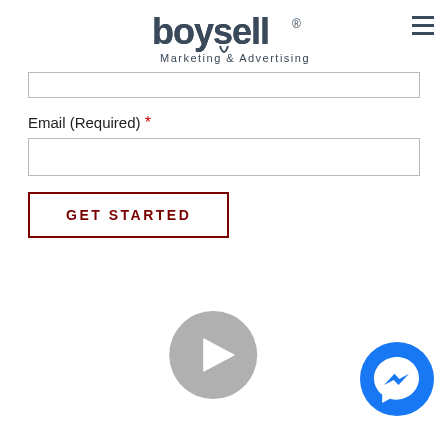[Figure (logo): Boysell Marketing & Advertising logo with hamburger menu icon in top right]
Email (Required) *
[Figure (screenshot): Form input fields: a text input box at top and an email input box below, followed by a Get Started button with dark red border]
[Figure (other): Gray circular video play button]
[Figure (other): Facebook Messenger blue circle icon]